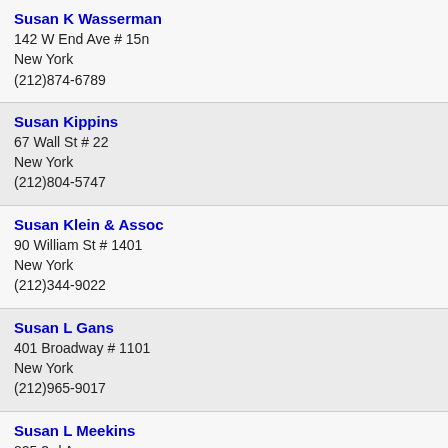Susan K Wasserman
142 W End Ave # 15n
New York
(212)874-6789
Susan Kippins
67 Wall St # 22
New York
(212)804-5747
Susan Klein & Assoc
90 William St # 1401
New York
(212)344-9022
Susan L Gans
401 Broadway # 1101
New York
(212)965-9017
Susan L Meekins
825 3rd Ave
New York
(212)588-8877